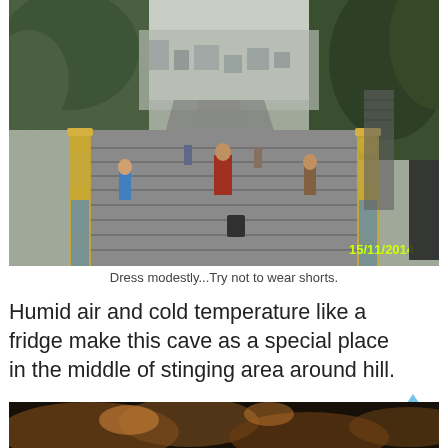[Figure (photo): View looking down a long staircase at Batu Caves temple, Malaysia. Ornate gold and blue painted railings on both sides, people on the steps, lush green vegetation and rock cliffs framing the view, city visible in the background. Date stamp 15/11/2014 in yellow.]
Dress modestly...Try not to wear shorts.
Humid air and cold temperature like a fridge make this cave as a special place in the middle of stinging area around hill.
[Figure (photo): Partial view of a cave interior with orange and brown rock formations, dark atmosphere.]